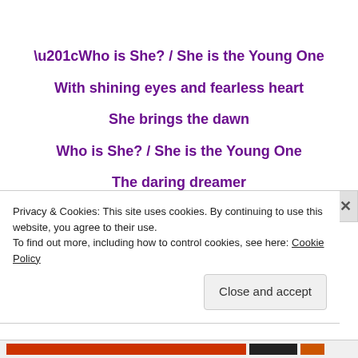“Who is She? / She is the Young One
With shining eyes and fearless heart
She brings the dawn
Who is She? / She is the Young One
The daring dreamer
Privacy & Cookies: This site uses cookies. By continuing to use this website, you agree to their use.
To find out more, including how to control cookies, see here: Cookie Policy
Close and accept